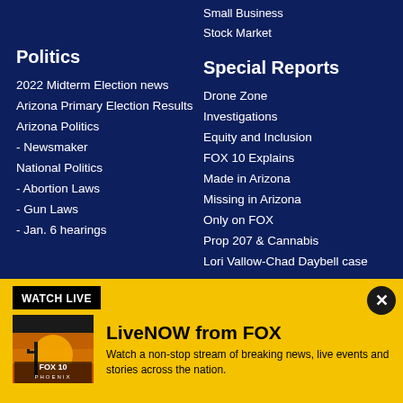Small Business
Stock Market
Politics
2022 Midterm Election news
Arizona Primary Election Results
Arizona Politics
- Newsmaker
National Politics
- Abortion Laws
- Gun Laws
- Jan. 6 hearings
Special Reports
Drone Zone
Investigations
Equity and Inclusion
FOX 10 Explains
Made in Arizona
Missing in Arizona
Only on FOX
Prop 207 & Cannabis
Lori Vallow-Chad Daybell case
WATCH LIVE
LiveNOW from FOX
Watch a non-stop stream of breaking news, live events and stories across the nation.